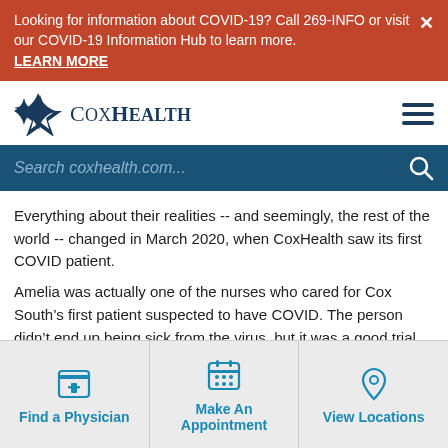Looking for information about COVID-19? Call 269-INFO or visit our COVID-19 Information Hub to learn more. LEARN MORE
[Figure (logo): CoxHealth logo with four-pointed star icon and CoxHealth wordmark]
Search coxhealth.com...
Everything about their realities -- and seemingly, the rest of the world -- changed in March 2020, when CoxHealth saw its first COVID patient.
Amelia was actually one of the nurses who cared for Cox South's first patient suspected to have COVID. The person didn't end up being sick from the virus, but it was a good trial run for a version of herself who had no idea what was
Find a Physician | Make An Appointment | View Locations